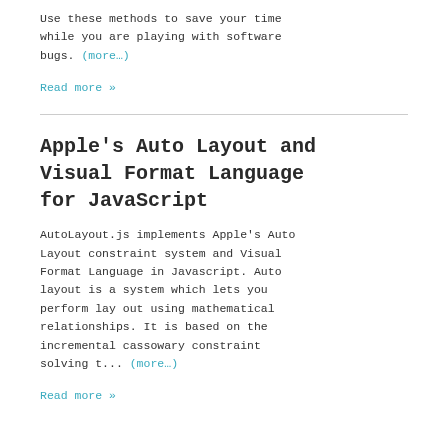Use these methods to save your time while you are playing with software bugs. (more…)
Read more »
Apple's Auto Layout and Visual Format Language for JavaScript
AutoLayout.js implements Apple's Auto Layout constraint system and Visual Format Language in Javascript. Auto layout is a system which lets you perform lay out using mathematical relationships. It is based on the incremental cassowary constraint solving t... (more…)
Read more »